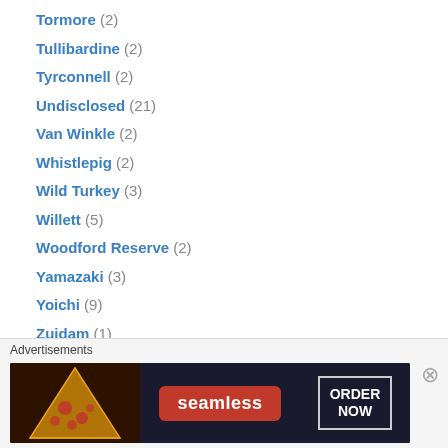Tormore (2)
Tullibardine (2)
Tyrconnell (2)
Undisclosed (21)
Van Winkle (2)
Whistlepig (2)
Wild Turkey (3)
Willett (5)
Woodford Reserve (2)
Yamazaki (3)
Yoichi (9)
Zuidam (1)
Store Bottlings (191)
Ace Liquors (1)
Astor Wines (2)
BevMo! (3)
[Figure (screenshot): Seamless food delivery advertisement banner with pizza image on the left, Seamless logo in red badge center, and ORDER NOW text in bordered box on right, on dark background]